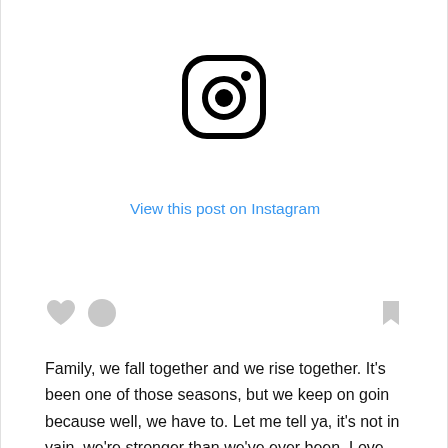[Figure (logo): Instagram logo — rounded square with camera outline and lens circle, black stroke on white background]
View this post on Instagram
[Figure (other): Row of social icons: heart icon, comment bubble icon on left; bookmark icon on right — all light gray]
Family, we fall together and we rise together. It's been one of those seasons, but we keep on goin because well, we have to. Let me tell ya, it's not in vain, we're stronger than we've ever been. Love now has a deeper meaning and I LOVE these boys.